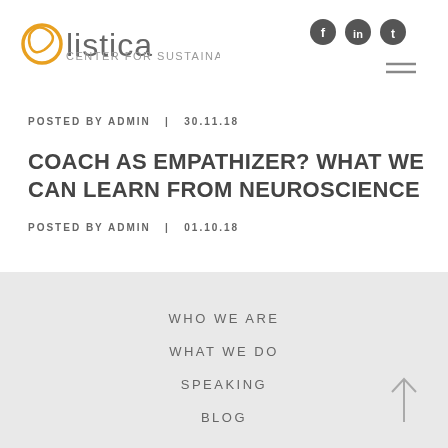[Figure (logo): Olistica Center for Sustainable Leadership logo with circular golden emblem]
[Figure (other): Social media icons: Facebook, LinkedIn, Twitter in dark circles, and hamburger menu]
POSTED BY ADMIN  |  30.11.18
COACH AS EMPATHIZER? WHAT WE CAN LEARN FROM NEUROSCIENCE
POSTED BY ADMIN  |  01.10.18
WHO WE ARE
WHAT WE DO
SPEAKING
BLOG